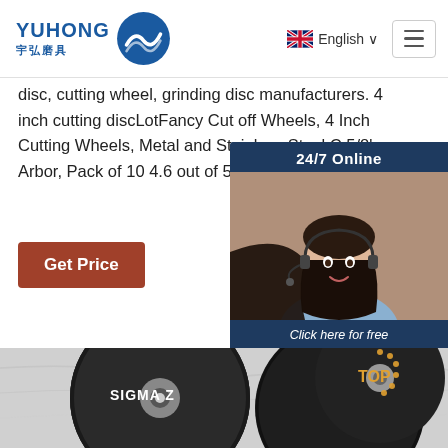[Figure (logo): Yuhong logo with blue wave/shield icon and Chinese text 宇弘磨具]
English (language selector with UK flag)
disc, cutting wheel, grinding disc manufacturers. 4 inch cutting discLotFancy Cut off Wheels, 4 Inch Cutting Wheels, Metal and Stainless Steel C 5/8' Arbor, Pack of 10 4.6 out of 5 stars 124 $
[Figure (photo): 24/7 Online chat widget with woman wearing headset, dark blue background, 'Click here for free chat!' text and orange QUOTATION button]
Get Price
[Figure (photo): Product photo showing two SIGMA Z cutting/grinding discs on a marble surface]